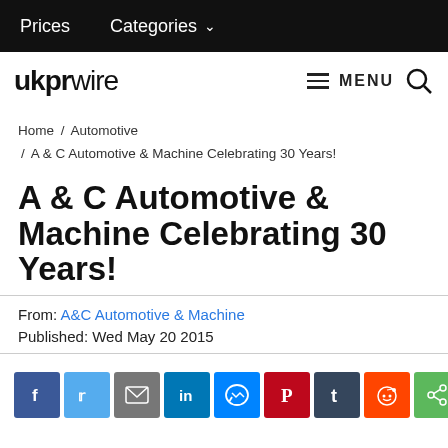Prices   Categories
[Figure (logo): ukprwire logo with bold ukpr and thin wire text, with MENU hamburger icon and search icon]
Home / Automotive / A & C Automotive & Machine Celebrating 30 Years!
A & C Automotive & Machine Celebrating 30 Years!
From: A&C Automotive & Machine
Published: Wed May 20 2015
[Figure (infographic): Social share buttons: Facebook, Twitter, Email, LinkedIn, Messenger, Pinterest, Tumblr, Reddit, Share]